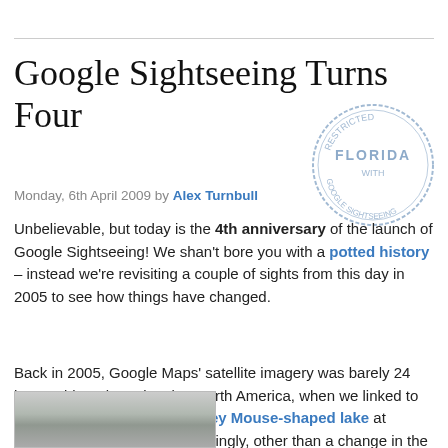Google Sightseeing Turns Four
Monday, 6th April 2009 by Alex Turnbull
Unbelievable, but today is the 4th anniversary of the launch of Google Sightseeing! We shan't bore you with a potted history – instead we're revisiting a couple of sights from this day in 2005 to see how things have changed.
[Figure (illustration): Circular stamp overlay reading FLORIDA with GOOGLE SIGHTSEEING around the edge]
Back in 2005, Google Maps' satellite imagery was barely 24 hours old, and restricted to North America, when we linked to our very first sight – this Mickey Mouse-shaped lake at Disney World, Florida. Interestingly, other than a change in the projection of the images 1 (which stopped everything looking squished), the imagery here hasn't been updated since then.
[Figure (photo): Partial satellite image of Mickey Mouse-shaped lake at Disney World, Florida]